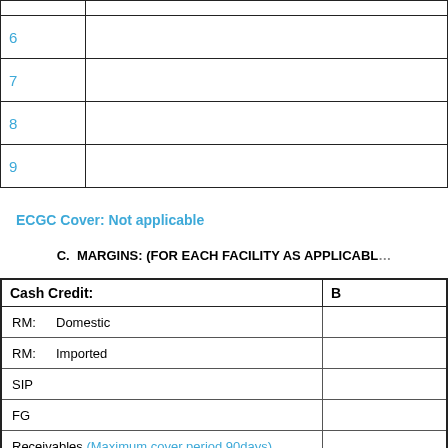| # | Content |
| --- | --- |
| 6 |  |
| 7 |  |
| 8 |  |
| 9 |  |
ECGC Cover:  Not applicable
C.  MARGINS: (FOR EACH FACILITY AS APPLICABLE)
| Cash Credit: | B |
| --- | --- |
| RM:    Domestic |  |
| RM:    Imported |  |
| SIP |  |
| FG |  |
| Receivables (Maximum cover period 90days) |  |
| Letter of Credit |  |
| BG |  |